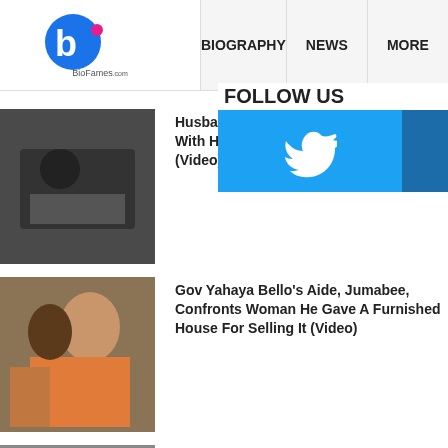[Figure (logo): BioFames logo with 'bf' letters]
BIOGRAPHY | NEWS | MORE
.
[Figure (infographic): FOLLOW US panel with Twitter and Instagram icons]
[Figure (photo): Thumbnail for husband prophet story]
Husband Catches Prophet Sleeping With His Wife On Their Matrimonial Bed (Video)
[Figure (photo): Thumbnail for Gov Yahaya Bello aide story]
Gov Yahaya Bello's Aide, Jumabee, Confronts Woman He Gave A Furnished House For Selling It (Video)
[Figure (photo): Thumbnail for Uche Osborn story]
Uche Osborn Reveals What Nigerian Men In UK Are Going Through After Bringing Their Wives From Nigeria
[Figure (photo): Thumbnail for Odion Ighalo story]
Odion Ighalo Scores For Club As His Mother Watches Him (Video)
[Figure (photo): Thumbnail for Ghanaian woman story]
Ghanaian Woman Fight Her Man, Stops Him From